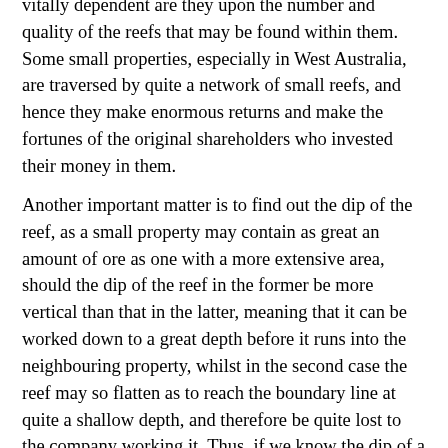vitally dependent are they upon the number and quality of the reefs that may be found within them. Some small properties, especially in West Australia, are traversed by quite a network of small reefs, and hence they make enormous returns and make the fortunes of the original shareholders who invested their money in them.
Another important matter is to find out the dip of the reef, as a small property may contain as great an amount of ore as one with a more extensive area, should the dip of the reef in the former be more vertical than that in the latter, meaning that it can be worked down to a great depth before it runs into the neighbouring property, whilst in the second case the reef may so flatten as to reach the boundary line at quite a shallow depth, and therefore be quite lost to the company working it. Thus, if we know the dip of a reef, it is knowledge that will be of the greatest use to us both in our speculations and investments. For instance, if a company is sinking a shaft to cut a reef at a certain depth, we may make a profit by calculating the depth at which it should be cut, by buying the shares at a low price and selling again when the price goes up, on the striking of the reef. Should the reef be a very rich one and still going down vertically, we may hold on for a considerable time and make a more handsome profit still, or we may hold the